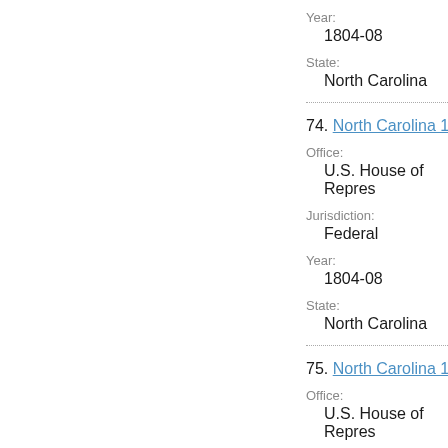Year:
1804-08
State:
North Carolina
74. North Carolina 1804 U.S.
Office:
U.S. House of Repres
Jurisdiction:
Federal
Year:
1804-08
State:
North Carolina
75. North Carolina 1804 U.S.
Office:
U.S. House of Repres
Jurisdiction:
Federal